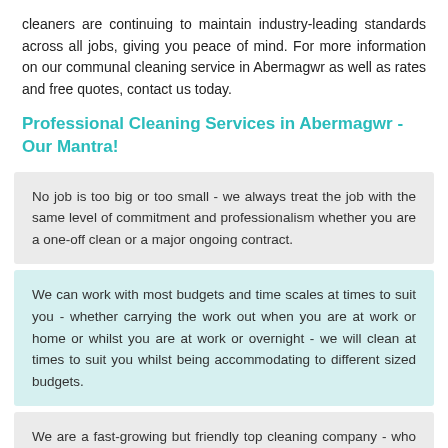cleaners are continuing to maintain industry-leading standards across all jobs, giving you peace of mind. For more information on our communal cleaning service in Abermagwr as well as rates and free quotes, contact us today.
Professional Cleaning Services in Abermagwr - Our Mantra!
No job is too big or too small - we always treat the job with the same level of commitment and professionalism whether you are a one-off clean or a major ongoing contract.
We can work with most budgets and time scales at times to suit you - whether carrying the work out when you are at work or home or whilst you are at work or overnight - we will clean at times to suit you whilst being accommodating to different sized budgets.
We are a fast-growing but friendly top cleaning company - who looks forward to working with you and getting your home,